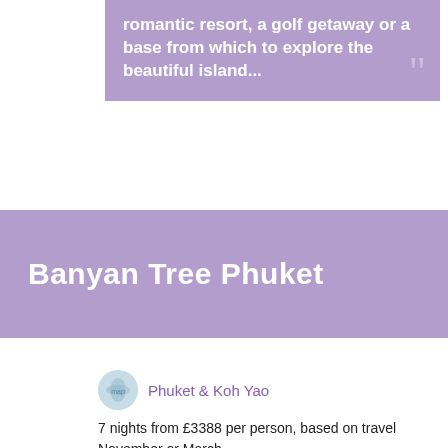romantic resort, a golf getaway or a base from which to explore the beautiful island...
Banyan Tree Phuket
Phuket & Koh Yao
7 nights from £3388 per person, based on travel November or March
Includes breakfast, transfers, air travel on Qatar via Doha,